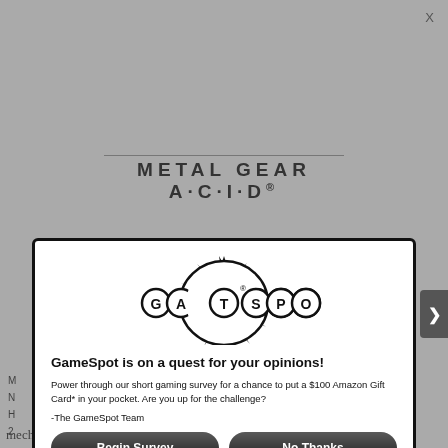[Figure (logo): Metal Gear Acid logo text with horizontal rule above]
X
[Figure (logo): GameSpot logo with circular bubbles spelling GAMESPOT and spiky explosion graphic]
GameSpot is on a quest for your opinions!
Power through our short gaming survey for a chance to put a $100 Amazon Gift Card* in your pocket.  Are you up for the challenge?
-The GameSpot Team
[Figure (other): Begin Survey button - dark rounded rectangle]
[Figure (other): No Thanks button - dark rounded rectangle]
When you reply to this survey, you acknowledge that Red Ventures collects your personal data in accordance with the Red Ventures privacy policy
For sweepstakes rules, see here.
Contact us about this survey.
mechanics still hasn't been replicated 16 years later. In this turn-